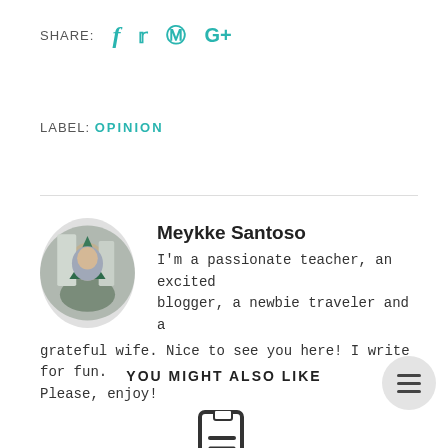SHARE:  f  t  ⊕  G+
LABEL: OPINION
[Figure (photo): Circular profile photo of Meykke Santoso showing a person in front of tall buildings]
Meykke Santoso
I'm a passionate teacher, an excited blogger, a newbie traveler and a grateful wife. Nice to see you here! I write for fun. Please, enjoy!
YOU MIGHT ALSO LIKE
[Figure (illustration): Document icon at bottom center of page]